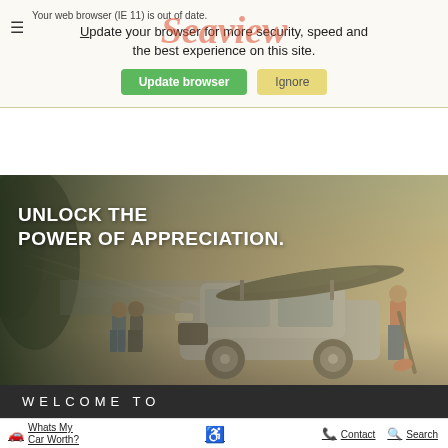Your web browser (IE 11) is out of date. Update your browser for more security, speed and the best experience on this site.
Update browser   Ignore
[Figure (photo): Buick SUV with kayak on roof rack parked near a lake. Two adults walking in background on left, a teen holding a paddle on the right. Text overlay reads: UNLOCK THE POWER OF APPRECIATION.]
WELCOME TO
Whats My Car Worth?
Contact
Search